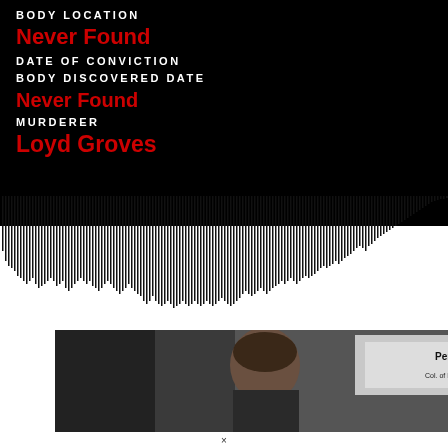BODY LOCATION
Never Found
DATE OF CONVICTION
BODY DISCOVERED DATE
Never Found
MURDERER
Loyd Groves
[Figure (other): Audio waveform visualization showing vertical bars of varying heights forming a waveform pattern, dark bars on white background at the transition between black and white sections]
[Figure (photo): Photograph showing a person in front of a Pennsylvania State Police sign/backdrop]
×